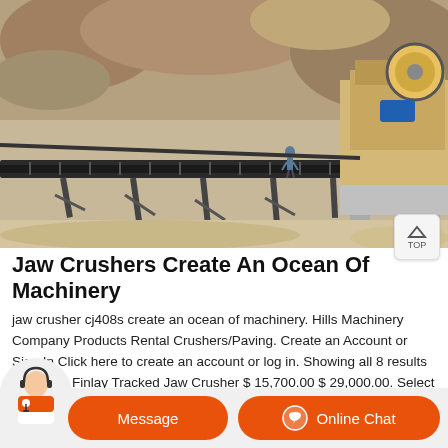[Figure (photo): Aerial view of a jaw crusher and conveyor belt system at a quarry/mining site. Industrial machinery with a large conveyor belt in the foreground, a worker standing on it, and a jaw crusher machine visible in the background upper right. Rocky terrain surrounds the equipment.]
Jaw Crushers Create An Ocean Of Machinery
jaw crusher cj408s create an ocean of machinery. Hills Machinery Company Products Rental Crushers/Paving. Create an Account or Sign In Click here to create an account or log in. Showing all 8 results ... J-1170 Finlay Tracked Jaw Crusher $ 15,700.00 $ 29,000.00. Select options. J-1170 Finlay Mobile Jaw Crusher $
[Figure (photo): Customer service agent icon with headset, orange circular background, shown in bottom chat bar alongside Message and Online Chat buttons.]